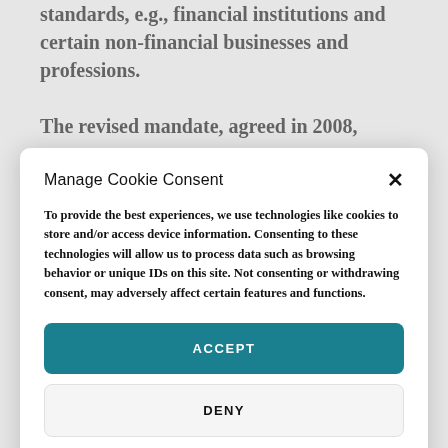standards, e.g., financial institutions and certain non-financial businesses and professions.
The revised mandate, agreed in 2008, [followed by more text partially obscured]
Manage Cookie Consent
To provide the best experiences, we use technologies like cookies to store and/or access device information. Consenting to these technologies will allow us to process data such as browsing behavior or unique IDs on this site. Not consenting or withdrawing consent, may adversely affect certain features and functions.
ACCEPT
DENY
Privacy Policy & Terms of Use